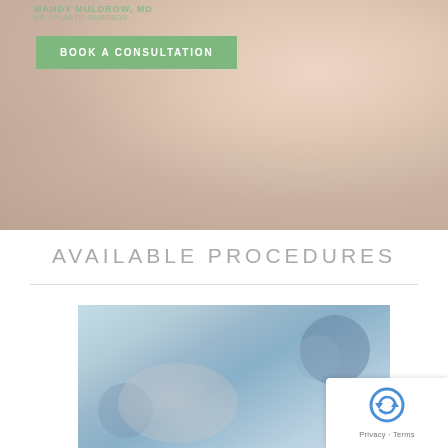[Figure (photo): Hero banner photo of a woman resting her chin on her hands, reflected surface, spa/medical aesthetic]
BOOK A CONSULTATION
AVAILABLE PROCEDURES
[Figure (photo): Medical/spa procedure photo showing a patient lying down with eye protection goggles, light therapy or laser treatment device visible]
Privacy · Terms